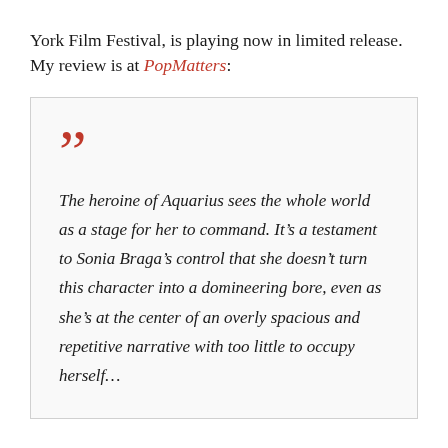York Film Festival, is playing now in limited release. My review is at PopMatters:
The heroine of Aquarius sees the whole world as a stage for her to command. It's a testament to Sonia Braga's control that she doesn't turn this character into a domineering bore, even as she's at the center of an overly spacious and repetitive narrative with too little to occupy herself…